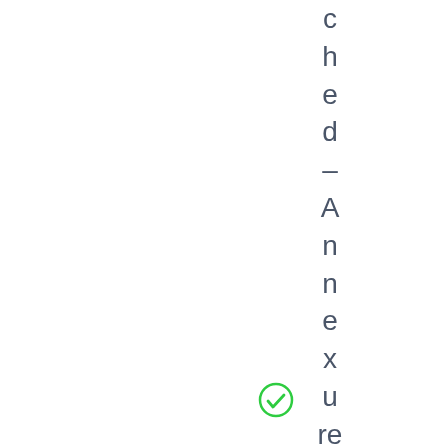c h e d – A n n e x u r e XI I). A t M
[Figure (illustration): Green checkmark icon (circle with a checkmark inside)]